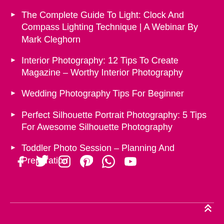The Complete Guide To Light: Clock And Compass Lighting Technique | A Webinar By Mark Cleghorn
Interior Photography: 12 Tips To Create Magazine - Worthy Interior Photography
Wedding Photography Tips For Beginner
Perfect Silhouette Portrait Photography: 5 Tips For Awesome Silhouette Photography
Toddler Photo Session – Planning And Preparation
[Figure (infographic): Social media icons: Facebook, Twitter, Instagram, Pinterest, WhatsApp, YouTube]